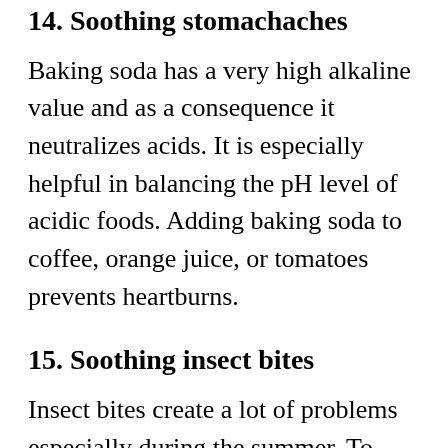14. Soothing stomachaches
Baking soda has a very high alkaline value and as a consequence it neutralizes acids. It is especially helpful in balancing the pH level of acidic foods. Adding baking soda to coffee, orange juice, or tomatoes prevents heartburns.
15. Soothing insect bites
Insect bites create a lot of problems especially during the summer. To sooth the burning sensation and the